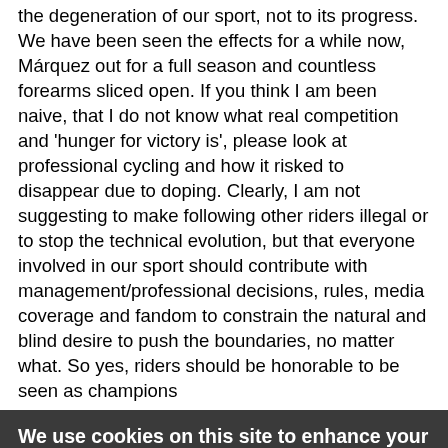the degeneration of our sport, not to its progress. We have been seen the effects for a while now, Márquez out for a full season and countless forearms sliced open. If you think I am been naive, that I do not know what real competition and 'hunger for victory is', please look at professional cycling and how it risked to disappear due to doping. Clearly, I am not suggesting to make following other riders illegal or to stop the technical evolution, but that everyone involved in our sport should contribute with management/professional decisions, rules, media coverage and fandom to constrain the natural and blind desire to push the boundaries, no matter what. So yes, riders should be honorable to be seen as champions
We use cookies on this site to enhance your user experience
By clicking any link on this page you are giving your consent for us to set cookies. No, give me more info
OK, I agree